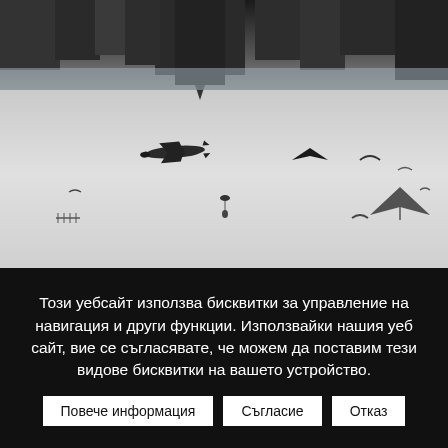[Figure (photo): Black and white surreal cityscape reflected upside-down at top, with various flying objects including an airplane, birds, a hang glider, a parachutist, and acrobatic jets scattered across a light grey sky background.]
Този уебсайт използва бисквитки за управление на навигация и други функции. Използвайки нашия уеб сайт, вие се съгласявате, че можем да поставим тези видове бисквитки на вашето устройство.
Повече информация
Съгласие
Отказ